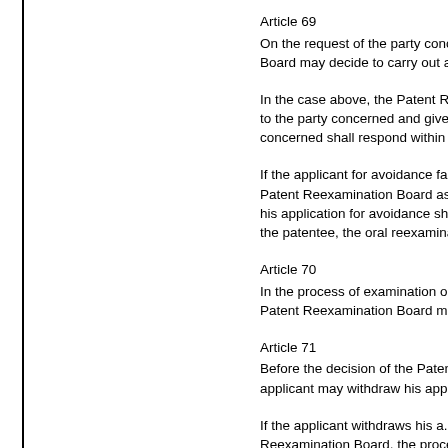Article 69
On the request of the party concerned, the Patent Reexamination Board may decide to carry out an
In the case above, the Patent Reexamination Board shall send the opinions to the party concerned and give a time limit for response. The party concerned shall respond within the
If the applicant for avoidance fails to respond within the time limit notified by the Patent Reexamination Board as aforesaid without any justifiable reason, his application for avoidance shall be deemed to have been withdrawn. Where the patentee, the oral reexamination
Article 70
In the process of examination of a request for reexamination, the Patent Reexamination Board may
Article 71
Before the decision of the Patent Reexamination Board is made, the applicant may withdraw his application
If the applicant withdraws his application, the Patent Reexamination Board, the process